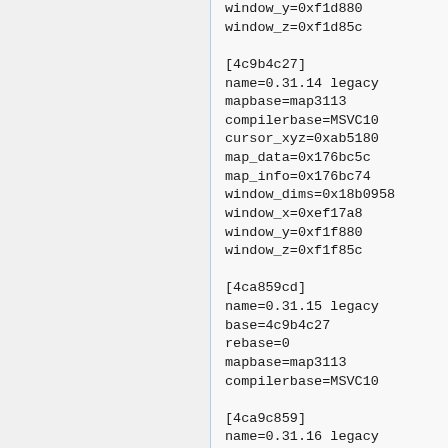window_y=0xf1d880
window_z=0xf1d85c

[4c9b4c27]
name=0.31.14 legacy
mapbase=map3113
compilerbase=MSVC10
cursor_xyz=0xab5180
map_data=0x176bc5c
map_info=0x176bc74
window_dims=0x18b0958
window_x=0xef17a8
window_y=0xf1f880
window_z=0xf1f85c

[4ca859cd]
name=0.31.15 legacy
base=4c9b4c27
rebase=0
mapbase=map3113
compilerbase=MSVC10

[4ca9c859]
name=0.31.16 legacy
mapbase=map3113